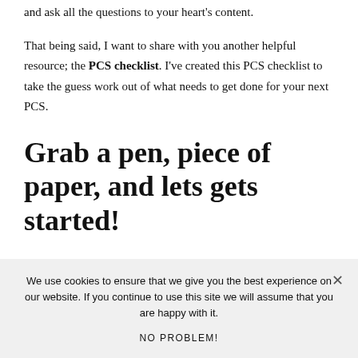and ask all the questions to your heart's content.
That being said, I want to share with you another helpful resource; the PCS checklist. I've created this PCS checklist to take the guess work out of what needs to get done for your next PCS.
Grab a pen, piece of paper, and lets gets started!
We use cookies to ensure that we give you the best experience on our website. If you continue to use this site we will assume that you are happy with it.
NO PROBLEM!